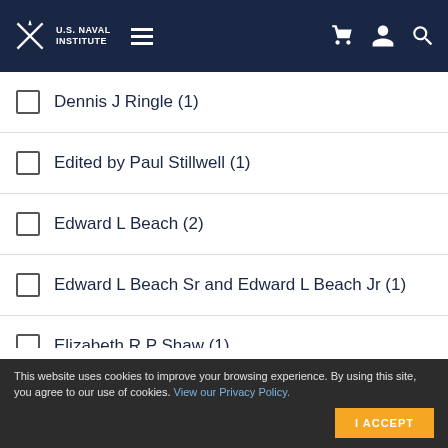U.S. Naval Institute
Dennis J Ringle (1)
Edited by Paul Stillwell (1)
Edward L Beach (2)
Edward L Beach Sr and Edward L Beach Jr (1)
Elizabeth R P Shaw (1)
Kenneth Poolman (1)
This website uses cookies to improve your browsing experience. By using this site, you agree to our use of cookies. View our Privacy Policy.